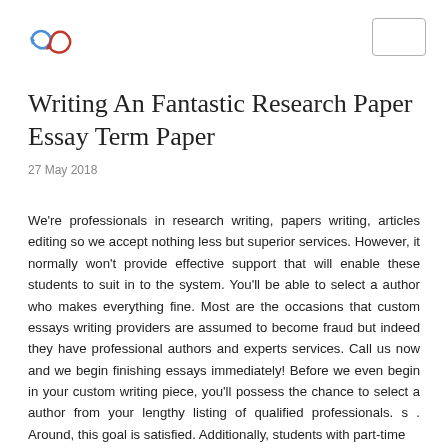[Logo] [Header box]
Writing An Fantastic Research Paper Essay Term Paper
27 May 2018
We're professionals in research writing, papers writing, articles editing so we accept nothing less but superior services. However, it normally won't provide effective support that will enable these students to suit in to the system. You'll be able to select a author who makes everything fine. Most are the occasions that custom essays writing providers are assumed to become fraud but indeed they have professional authors and experts services. Call us now and we begin finishing essays immediately! Before we even begin in your custom writing piece, you'll possess the chance to select a author from your lengthy listing of qualified professionals. s . Around, this goal is satisfied. Additionally, students with part-time